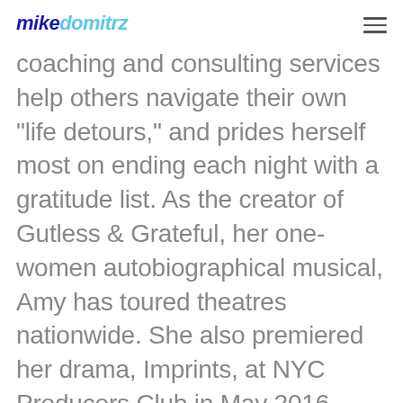mikedomitrz
coaching and consulting services help others navigate their own “life detours,” and prides herself most on ending each night with a gratitude list. As the creator of Gutless & Grateful, her one-women autobiographical musical, Amy has toured theatres nationwide. She also premiered her drama, Imprints, at NYC Producers Club in May 2016, about how trauma affects the family as well as the victim.